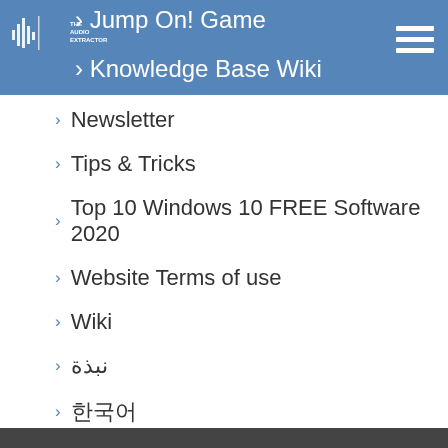Jump On! Game | Knowledge Base Wiki
Newsletter
Tips & Tricks
Top 10 Windows 10 FREE Software 2020
Website Terms of use
Wiki
نبذة
한국어